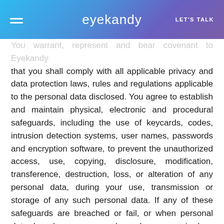eyekandy | LET'S TALK
You warrant, represent and bear covenant to Eyekandy that you shall comply with all applicable privacy and data protection laws, rules and regulations applicable to the personal data disclosed. You agree to establish and maintain physical, electronic and procedural safeguards, including the use of keycards, codes, intrusion detection systems, user names, passwords and encryption software, to prevent the unauthorized access, use, copying, disclosure, modification, transference, destruction, loss, or alteration of any personal data, during your use, transmission or storage of any such personal data. If any of these safeguards are breached or fail, or when personal data has been, or may have been, acquired or accessed by an unauthorized person, or if you believe that instructions